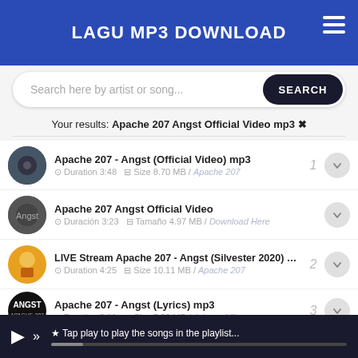LAGU MP3 DOWNLOAD
Search here by artist or song...
Your results: Apache 207 Angst Official Video mp3 ✖
Apache 207 - Angst (Official Video) mp3 | Duration 3:48 | Size 8.70 MB / Apache 207
Apache 207 Angst Official Video | Duración 3:23 | Tamaño 4.97 MB / Download Here
LIVE Stream Apache 207 - Angst (Silvester 2020) mp3 | Duration 4:25 | Size 10.11 MB / Apache 207
Apache 207 - Angst (Lyrics) mp3 | Duration 3:11 | Size 7.29 MB / Arizona Vibes
Apache 207 - ANGST (Lyric Video) mp3 | Duration 4:13 | Size 9.65 MB / EUPHONIE
★ Tap play to play the songs in the playlist...